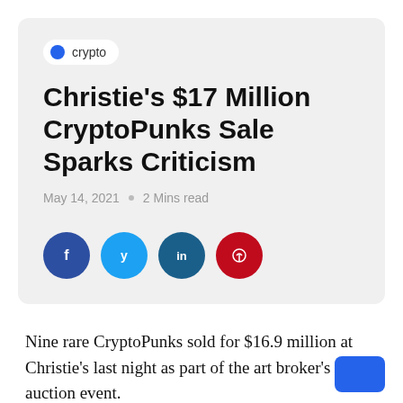crypto
Christie's $17 Million CryptoPunks Sale Sparks Criticism
May 14, 2021  ·  2 Mins read
[Figure (other): Social sharing icons: Facebook, Twitter, LinkedIn, Pinterest]
Nine rare CryptoPunks sold for $16.9 million at Christie's last night as part of the art broker's latest auction event.